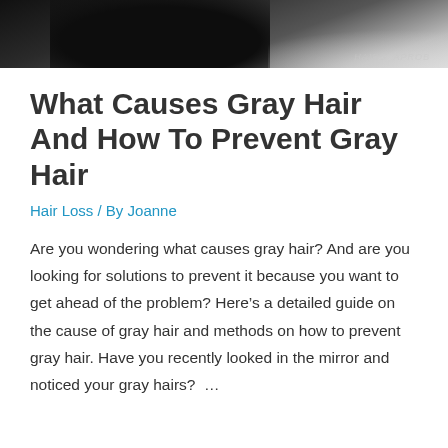[Figure (photo): Partial photo of a person with dark hair, cropped at top of page. Faint watermark text visible in lower right.]
What Causes Gray Hair And How To Prevent Gray Hair
Hair Loss / By Joanne
Are you wondering what causes gray hair? And are you looking for solutions to prevent it because you want to get ahead of the problem? Here’s a detailed guide on the cause of gray hair and methods on how to prevent gray hair. Have you recently looked in the mirror and noticed your gray hairs?  …